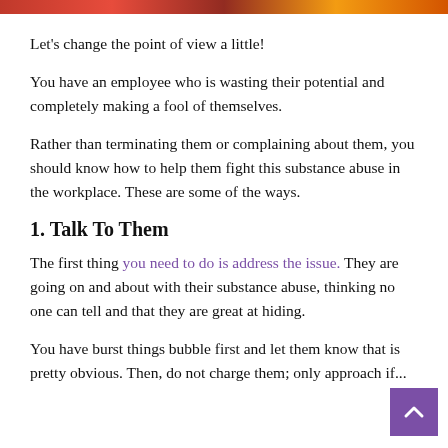[Figure (photo): Partial image strip at top of page showing people, partially cropped]
Let's change the point of view a little!
You have an employee who is wasting their potential and completely making a fool of themselves.
Rather than terminating them or complaining about them, you should know how to help them fight this substance abuse in the workplace. These are some of the ways.
1. Talk To Them
The first thing you need to do is address the issue. They are going on and about with their substance abuse, thinking no one can tell and that they are great at hiding.
You have burst things bubble first and let them know that is pretty obvious. Then, do not charge them; only approach if...